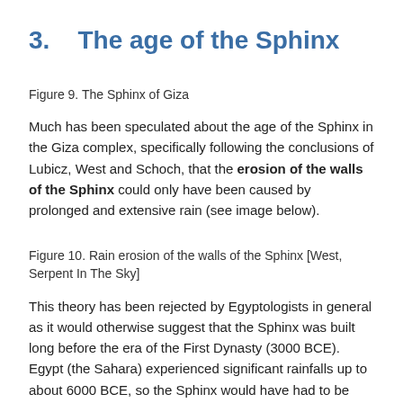3.    The age of the Sphinx
Figure 9. The Sphinx of Giza
Much has been speculated about the age of the Sphinx in the Giza complex, specifically following the conclusions of Lubicz, West and Schoch, that the erosion of the walls of the Sphinx could only have been caused by prolonged and extensive rain (see image below).
Figure 10. Rain erosion of the walls of the Sphinx [West, Serpent In The Sky]
This theory has been rejected by Egyptologists in general as it would otherwise suggest that the Sphinx was built long before the era of the First Dynasty (3000 BCE). Egypt (the Sahara) experienced significant rainfalls up to about 6000 BCE, so the Sphinx would have had to be constructed prior to or during this